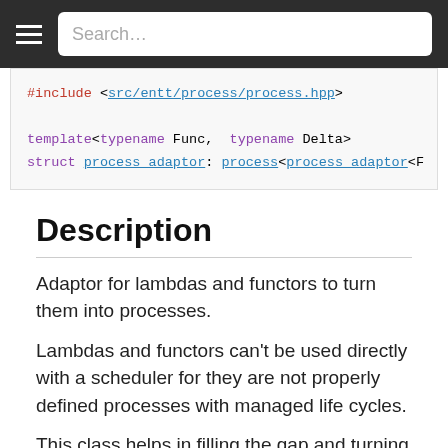Search...
#include <src/entt/process/process.hpp>

template<typename Func, typename Delta>
struct process_adaptor: process<process_adaptor<...
Description
Adaptor for lambdas and functors to turn them into processes.
Lambdas and functors can't be used directly with a scheduler for they are not properly defined processes with managed life cycles.
This class helps in filling the gap and turning lambdas and functors into full featured processes usable by a